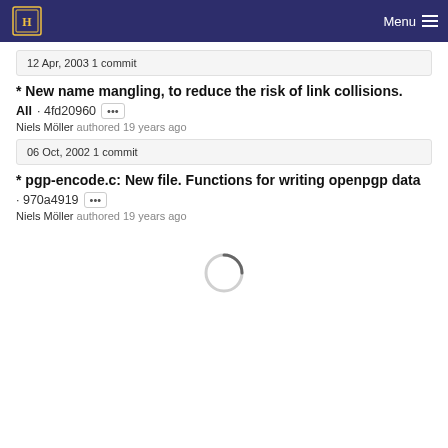Menu
12 Apr, 2003 1 commit
* New name mangling, to reduce the risk of link collisions.
All · 4fd20960 [···]
Niels Möller authored 19 years ago
06 Oct, 2002 1 commit
* pgp-encode.c: New file. Functions for writing openpgp data
· 970a4919 [···]
Niels Möller authored 19 years ago
[Figure (other): Loading spinner (circular arc indicator)]